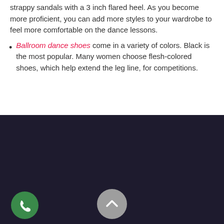strappy sandals with a 3 inch flared heel. As you become more proficient, you can add more styles to your wardrobe to feel more comfortable on the dance lessons.
Ballroom dance shoes come in a variety of colors. Black is the most popular. Many women choose flesh-colored shoes, which help extend the leg line, for competitions.
[Figure (screenshot): Dark navy/dark purple background UI screenshot with a green circular phone button on the bottom left and a gray circular up/chevron button in the bottom center.]